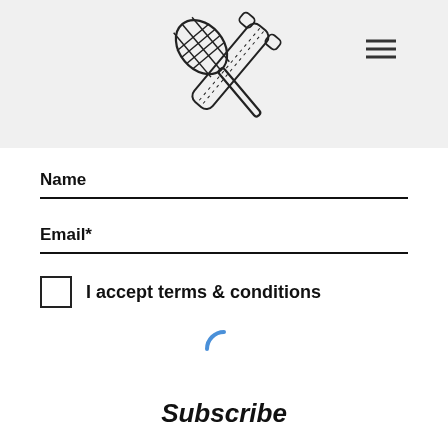[Figure (logo): Crossed whisk and rolling pin illustration (bakery logo)]
Name
Email*
I accept terms & conditions
[Figure (other): Blue loading spinner arc]
Subscribe